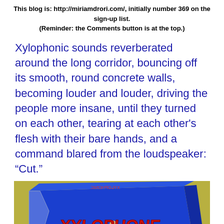This blog is: http://miriamdrori.com/, initially number 369 on the sign-up list. (Reminder: the Comments button is at the top.)
Xylophonic sounds reverberated around the long corridor, bouncing off its smooth, round concrete walls, becoming louder and louder, driving the people more insane, until they turned on each other, tearing at each other's flesh with their bare hands, and a command blared from the loudspeaker: “Cut.”
[Figure (photo): A photo of a blue xylophone toy box. The box shows 'XYLOPHONE' in large red letters on the front, with an image of a wooden xylophone with multicolored dots on the keys and two mallets.]